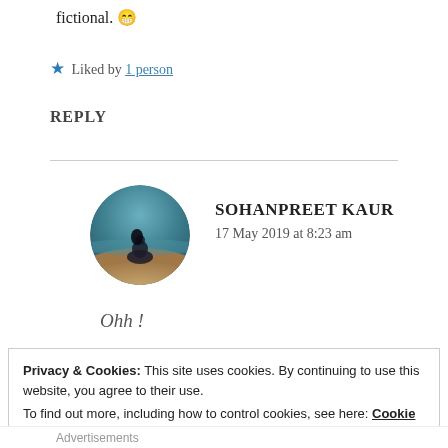fictional. 😁
★ Liked by 1 person
REPLY
[Figure (photo): Circular avatar photo of a person sitting on a beach, facing the ocean, with teal/ocean colors and sandy tones.]
SOHANPREET KAUR
17 May 2019 at 8:23 am
Ohh !
Privacy & Cookies: This site uses cookies. By continuing to use this website, you agree to their use.
To find out more, including how to control cookies, see here: Cookie Policy
Close and accept
Advertisements